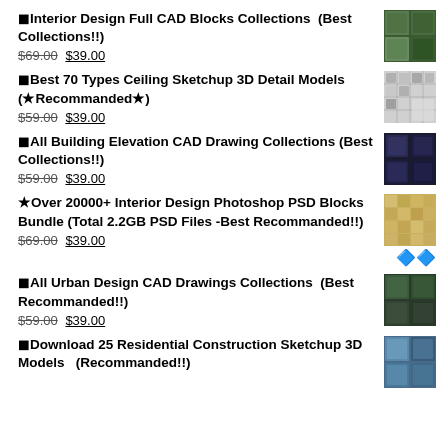⬛Interior Design Full CAD Blocks Collections  (Best Collections!!) $69.00 $39.00
⬛Best 70 Types Ceiling Sketchup 3D Detail Models (★Recommanded★) $59.00 $39.00
⬛All Building Elevation CAD Drawing Collections (Best Collections!!) $59.00 $39.00
★Over 20000+ Interior Design Photoshop PSD Blocks Bundle (Total 2.2GB PSD Files -Best Recommanded!!) $69.00 $39.00
⬛All Urban Design CAD Drawings Collections  (Best Recommanded!!) $59.00 $39.00
⬛Download 25 Residential Construction Sketchup 3D Models  (Recommanded!!)